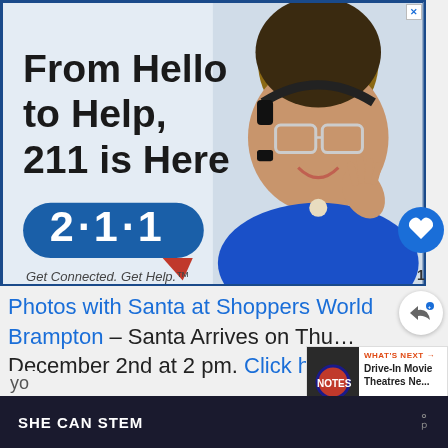[Figure (photo): Advertisement banner for 211 helpline service showing a woman with headset and glasses smiling, with text 'From Hello to Help, 211 is Here' and the 211 logo bubble with tagline 'Get Connected. Get Help.']
Photos with Santa at Shoppers World Brampton – Santa Arrives on Thu... December 2nd at 2 pm. Click here to book
[Figure (photo): What's Next thumbnail - Drive-In Movie Theatres Ne...]
SHE CAN STEM